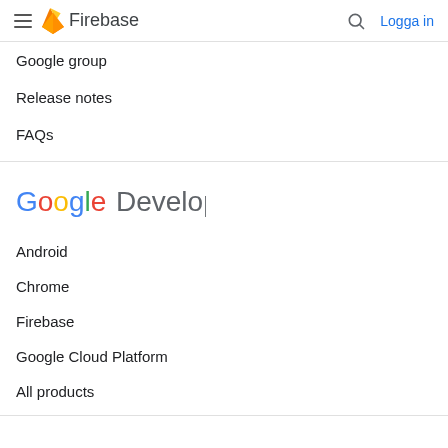Firebase — Logga in
Google group
Release notes
FAQs
[Figure (logo): Google Developers logo with colorful Google text and grey Developers text]
Android
Chrome
Firebase
Google Cloud Platform
All products